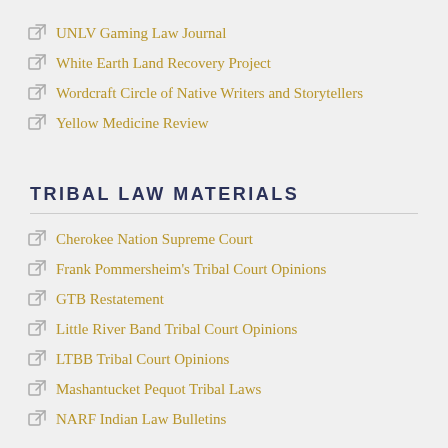UNLV Gaming Law Journal
White Earth Land Recovery Project
Wordcraft Circle of Native Writers and Storytellers
Yellow Medicine Review
TRIBAL LAW MATERIALS
Cherokee Nation Supreme Court
Frank Pommersheim's Tribal Court Opinions
GTB Restatement
Little River Band Tribal Court Opinions
LTBB Tribal Court Opinions
Mashantucket Pequot Tribal Laws
NARF Indian Law Bulletins